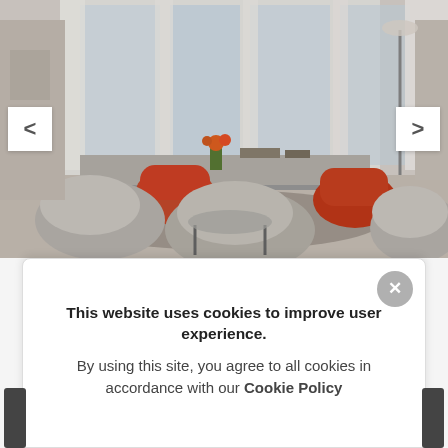[Figure (photo): Interior photo of a modern apartment living room with large gray and white pod-style chairs, red/orange accent chairs, a glass coffee table, patterned rug, and large windows with white curtains letting in natural light.]
APARTMENT BEAUCE LUXE CITYCOSY
2 [bed icon] . 1 [bath icon] . 4 [person icon]
From HUF 0 Nightly
This website uses cookies to improve user experience. By using this site, you agree to all cookies in accordance with our Cookie Policy